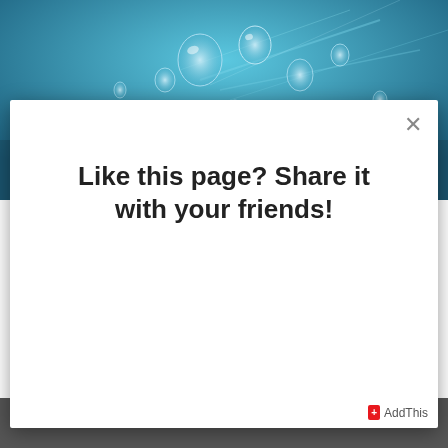[Figure (photo): Close-up photo of water droplets on a surface with blue-teal bokeh background]
Like this page? Share it with your friends!
[Figure (infographic): Social share buttons: Facebook, Twitter, Email, Pinterest, WhatsApp, Print (row 1); Gmail, LinkedIn, Google+, More (row 2)]
AddThis